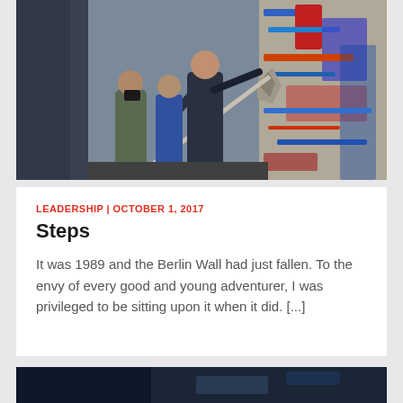[Figure (photo): People at the Berlin Wall, one man swinging a pickaxe at the graffiti-covered wall, others watching and photographing, black and white photo circa 1989]
LEADERSHIP | OCTOBER 1, 2017
Steps
It was 1989 and the Berlin Wall had just fallen. To the envy of every good and young adventurer, I was privileged to be sitting upon it when it did. [...]
[Figure (photo): Partial view of another article photo at the bottom of the page, dark tones]